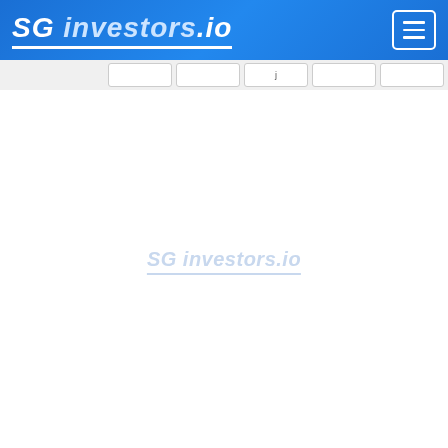SG investors.io
[Figure (screenshot): SG investors.io website header with blue gradient background, bold italic white logo text 'SG investors.io' with underline, and hamburger menu button in top right corner]
JS chart by amCharts
[Figure (other): Empty white chart area with SG investors.io watermark in light blue]
JS chart by amCharts